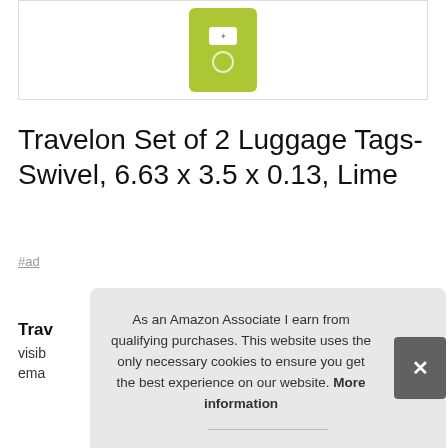[Figure (photo): Lime green Travelon luggage tag product image shown on white background inside a bordered box]
Travelon Set of 2 Luggage Tags-Swivel, 6.63 x 3.5 x 0.13, Lime
#ad
Trav... visib... ema...
As an Amazon Associate I earn from qualifying purchases. This website uses the only necessary cookies to ensure you get the best experience on our website. More information